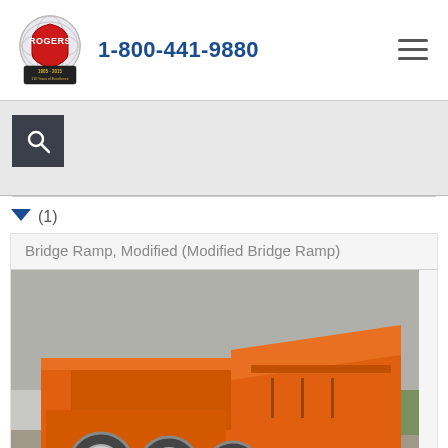[Figure (logo): Rogers logo - circular globe design with red shield bearing 'ROGERS' text and '1905-2015 110 Years of Excellence' banner]
1-800-441-9880
[Figure (other): Navigation hamburger menu icon (three horizontal lines)]
[Figure (other): Search button with magnifying glass icon on dark background]
(1)
Bridge Ramp, Modified (Modified Bridge Ramp)
[Figure (photo): Orange heavy-duty trailer bridge ramp with three white-rimmed tires visible, photographed outdoors near a grey building]